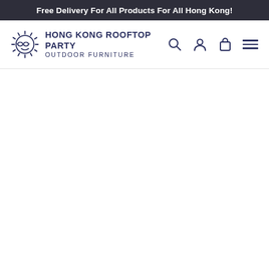Free Delivery For All Products For All Hong Kong!
[Figure (logo): Hong Kong Rooftop Party Outdoor Furniture logo — sun face icon with spikes and sunglasses, with brand name text]
HONG KONG ROOFTOP PARTY OUTDOOR FURNITURE